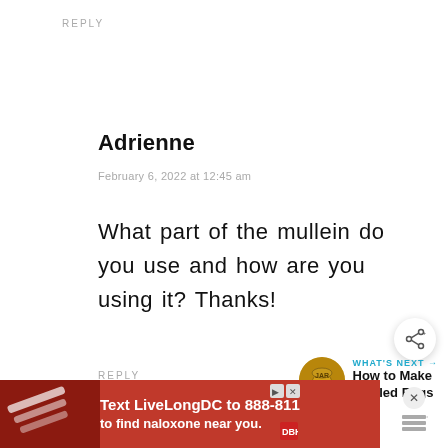REPLY
Adrienne
February 6, 2022 at 12:45 am
What part of the mullein do you use and how are you using it? Thanks!
REPLY
[Figure (other): Share button icon (circle with share symbol)]
[Figure (other): What's Next promo widget with jar image and text: How to Make Pickled Eggs]
[Figure (other): Advertisement banner: Text LiveLongDC to 888-811 to find naloxone near you.]